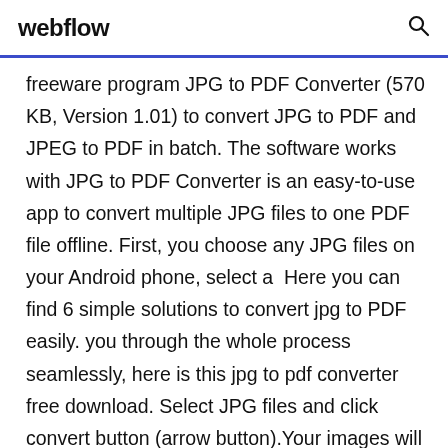webflow
freeware program JPG to PDF Converter (570 KB, Version 1.01) to convert JPG to PDF and JPEG to PDF in batch. The software works with JPG to PDF Converter is an easy-to-use app to convert multiple JPG files to one PDF file offline. First, you choose any JPG files on your Android phone, select a  Here you can find 6 simple solutions to convert jpg to PDF easily. you through the whole process seamlessly, here is this jpg to pdf converter free download. Select JPG files and click convert button (arrow button).Your images will be converted to pdf file in a few seconds and you will be redirected to download page  In case you have a number